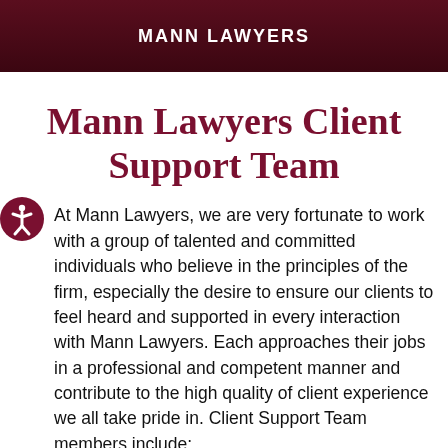MANN LAWYERS
Mann Lawyers Client Support Team
At Mann Lawyers, we are very fortunate to work with a group of talented and committed individuals who believe in the principles of the firm, especially the desire to ensure our clients to feel heard and supported in every interaction with Mann Lawyers. Each approaches their jobs in a professional and competent manner and contribute to the high quality of client experience we all take pride in. Client Support Team members include: